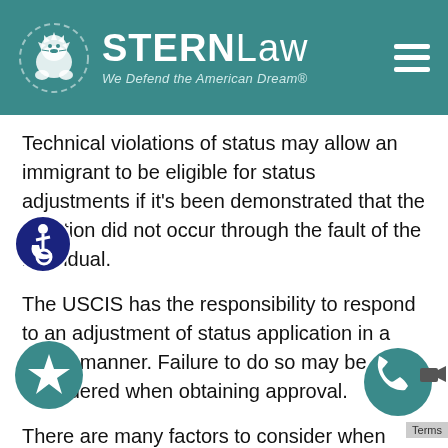[Figure (logo): STERNLaw logo with lion emblem and tagline 'We Defend the American Dream®' on teal background with hamburger menu icon]
Technical violations of status may allow an immigrant to be eligible for status adjustments if it's been demonstrated that the violation did not occur through the fault of the individual.
The USCIS has the responsibility to respond to an adjustment of status application in a timely manner. Failure to do so may be considered when obtaining approval.
There are many factors to consider when seeking an adjustment of status. Eligibility